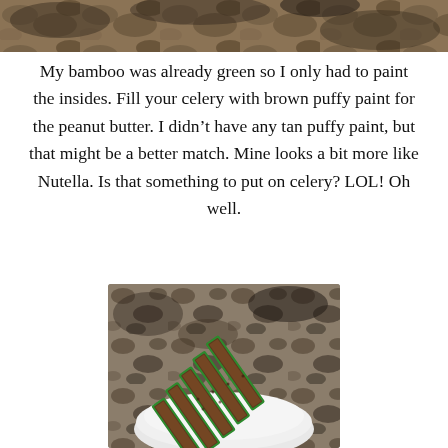[Figure (photo): Top portion of a photo, cropped, showing a textured surface (partial view of crafted bamboo/celery pieces)]
My bamboo was already green so I only had to paint the insides. Fill your celery with brown puffy paint for the peanut butter. I didn't have any tan puffy paint, but that might be a better match. Mine looks a bit more like Nutella. Is that something to put on celery? LOL! Oh well.
[Figure (photo): Photo of green craft bamboo/celery sticks filled with brown puffy paint resembling Nutella/peanut butter, arranged on a white plate, on a granite countertop background]